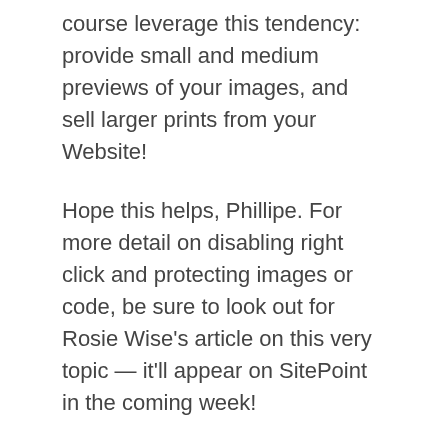course leverage this tendency: provide small and medium previews of your images, and sell larger prints from your Website!
Hope this helps, Phillipe. For more detail on disabling right click and protecting images or code, be sure to look out for Rosie Wise's article on this very topic — it'll appear on SitePoint in the coming week!
Timed Popups
Dr. Design, I want to include a pop-up on my site (to increase available space for my advertisers). I want the popup to appear when users access